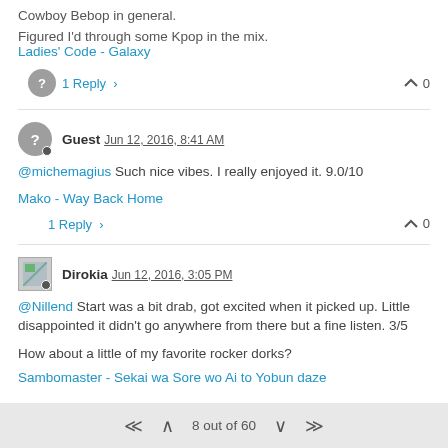Cowboy Bebop in general.
Figured I'd through some Kpop in the mix.
Ladies' Code - Galaxy
1 Reply
0
Guest  Jun 12, 2016, 8:41 AM
@michemagius Such nice vibes. I really enjoyed it. 9.0/10
Mako - Way Back Home
1 Reply
0
Dirokia  Jun 12, 2016, 3:05 PM
@Nillend Start was a bit drab, got excited when it picked up. Little disappointed it didn't go anywhere from there but a fine listen. 3/5
How about a little of my favorite rocker dorks?
Sambomaster - Sekai wa Sore wo Ai to Yobun daze
8 out of 60